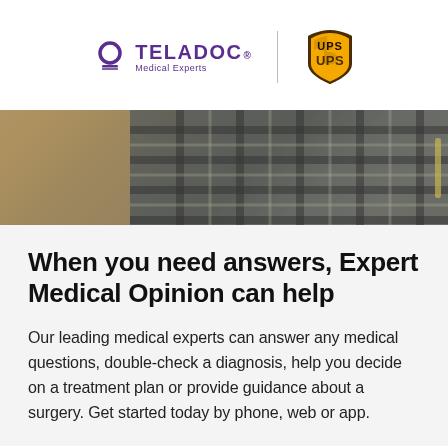[Figure (logo): Teladoc Medical Experts logo and UPS logo side by side with a vertical divider]
[Figure (photo): Close-up photo of a person wearing a plaid shirt, warm tones]
When you need answers, Expert Medical Opinion can help
Our leading medical experts can answer any medical questions, double-check a diagnosis, help you decide on a treatment plan or provide guidance about a surgery. Get started today by phone, web or app.